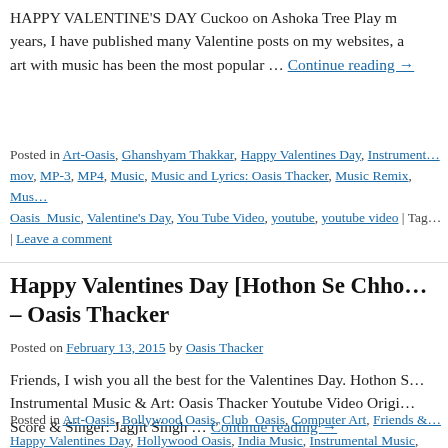HAPPY VALENTINE'S DAY Cuckoo on Ashoka Tree Play m… years, I have published many Valentine posts on my websites, a… art with music has been the most popular … Continue reading →
Posted in Art-Oasis, Ghanshyam Thakkar, Happy Valentines Day, Instrument… mov, MP-3, MP4, Music, Music and Lyrics: Oasis Thacker, Music Remix, Mus… Oasis_Music, Valentine's Day, You Tube Video, youtube, youtube video | Tag… | Leave a comment
Happy Valentines Day [Hothon Se Chho… – Oasis Thacker
Posted on February 13, 2015 by Oasis Thacker
Friends, I wish you all the best for the Valentines Day. Hothon S… Instrumental Music & Art: Oasis Thacker Youtube Video Origi… Score & Singer: Jagjit Singh … … Continue reading →
Posted in Art-Oasis, Bollywood Oasis, Club_Oasis, Computer Art, Friends &… Happy Valentines Day, Hollywood Oasis, India Music, Instrumental Music, Ins… MP-3, MP4, Music, Music Remix, Music_Oasis, Music-India, Oasis Thacker,… Video | Tagged Club_Oasis, Ghanshyam Thakkar, Happy Valentines Day, Jag…